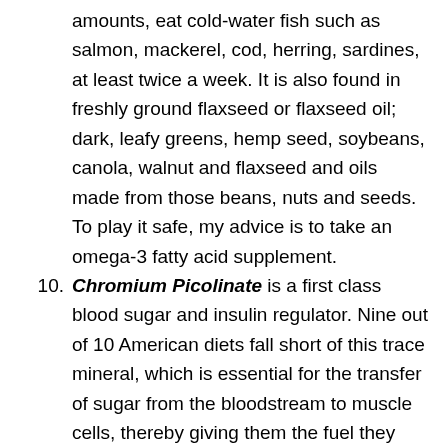amounts, eat cold-water fish such as salmon, mackerel, cod, herring, sardines, at least twice a week. It is also found in freshly ground flaxseed or flaxseed oil; dark, leafy greens, hemp seed, soybeans, canola, walnut and flaxseed and oils made from those beans, nuts and seeds. To play it safe, my advice is to take an omega-3 fatty acid supplement.
Chromium Picolinate is a first class blood sugar and insulin regulator. Nine out of 10 American diets fall short of this trace mineral, which is essential for the transfer of sugar from the bloodstream to muscle cells, thereby giving them the fuel they need to work. Chromium is involved in maintaining cholesterol and triglyceride levels, and it is also necessary for our muscles to function properly. Chromium is believed to help build new muscle and act as a fat burner. When combined with an exercise program, chromium